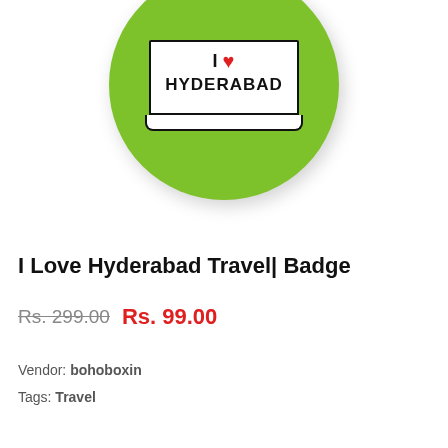[Figure (photo): A round green badge/button with 'I ♥ HYDERABAD' text on a white rectangular sign graphic in the center, on a white background.]
I Love Hyderabad Travel| Badge
Rs. 299.00 Rs. 99.00
Vendor: bohoboxin
Tags: Travel